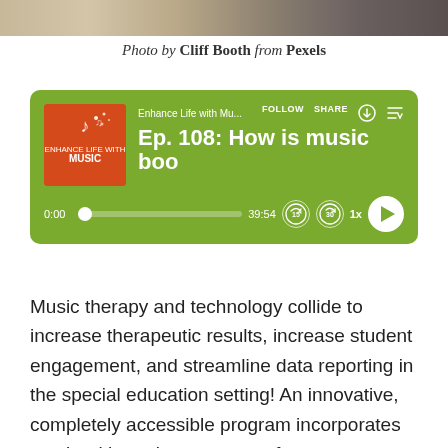[Figure (photo): Partial photo strip at top of page showing a blurred background scene]
Photo by Cliff Booth from Pexels
[Figure (screenshot): Podcast player widget with green background showing 'Enhance Life with Mu...' podcast, episode 'Ep. 108: How is music boo', playback time 0:00 to 39:54, with follow, share, and playback controls]
Music therapy and technology collide to increase therapeutic results, increase student engagement, and streamline data reporting in the special education setting! An innovative, completely accessible program incorporates music with motion capture software to address IEP